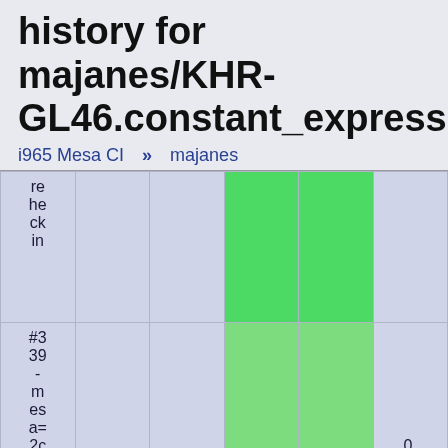history for majanes/KHR-GL46.constant_expressions.array_acos_float_fragment:
i965 Mesa CI » majanes
| re
he
ck
in |  |  | pass | pass |  |
| #339
-
mesa=2c9a3825 | gen9_ir... | m64 | pass | pass | 0.008327 |